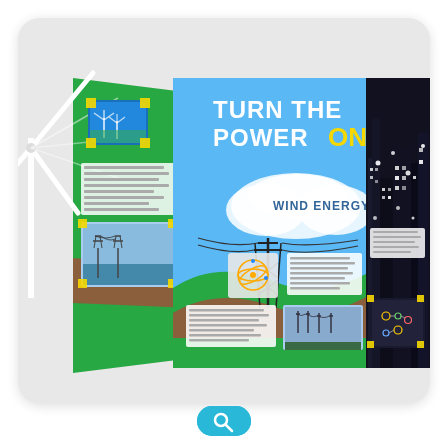[Figure (photo): A science fair tri-fold display board titled 'TURN THE POWER ON' with subtitle 'WIND ENERGY'. The board features a large wind turbine on the left overlapping the display, a blue sky background with clouds, a city skyline silhouette with lights on the right panel, and a green hill with power transmission lines in the center. Multiple informational panels, photos, and text boxes are arranged on the green left and center panels.]
[Figure (illustration): A teal/cyan circular magnifying glass search icon button at the bottom center of the page.]